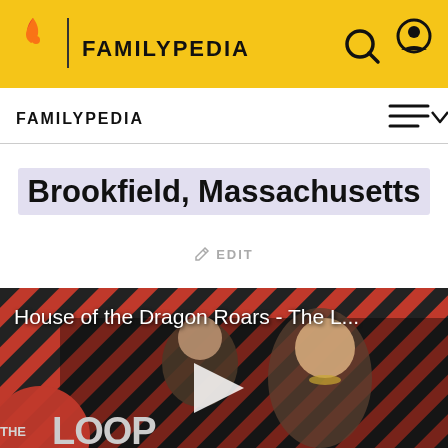FAMILYPEDIA
FAMILYPEDIA
Brookfield, Massachusetts
EDIT
[Figure (screenshot): House of the Dragon Roars - The L... video thumbnail with THE LOOP branding, showing two characters and a play button overlay on a red diagonal stripe background]